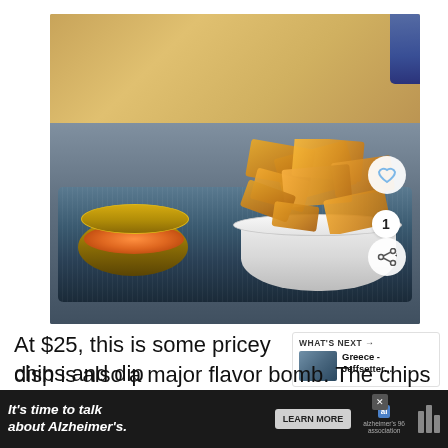[Figure (photo): Photo of a white bowl filled with golden seasoned potato chips and a gold tin filled with orange/red salmon roe caviar, both placed on a dark blue ribbed tray on a restaurant table.]
At $25, this is some pricey chips and dip... dish is also a major flavor bomb. The chips have
[Figure (other): What's Next panel showing Greece - Jeffsetter... thumbnail and label]
[Figure (other): Advertisement banner: It's time to talk about Alzheimer's. LEARN MORE. Alzheimer's association logo.]